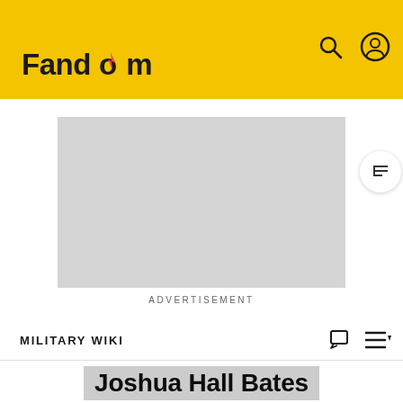Fandom
[Figure (screenshot): Advertisement placeholder gray rectangle]
ADVERTISEMENT
MILITARY WIKI
Joshua Hall Bates
[Figure (photo): Dark-haired figure in black costume against a red and black diagonal stripe background, appearing to be a promotional image]